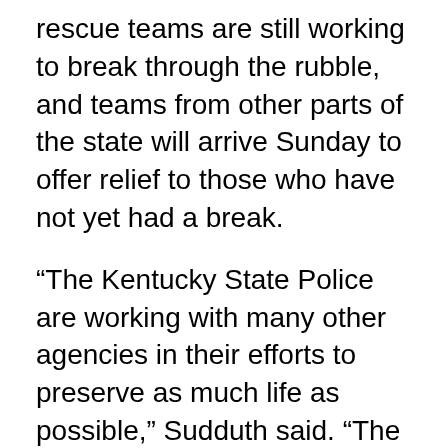rescue teams are still working to break through the rubble, and teams from other parts of the state will arrive Sunday to offer relief to those who have not yet had a break.
“The Kentucky State Police are working with many other agencies in their efforts to preserve as much life as possible,” Sudduth said. “The low temperatures last night are worrisome, but efforts are continuing. The damage is so extensive it only takes time.”
In Mayfield, a city of around 10,000 and one of the hardest hit communities, residents shared devastating images showing decimated homes and trees ripped from the ground. Twisted metal, downed power lines and wrecked vehicles lined the streets.